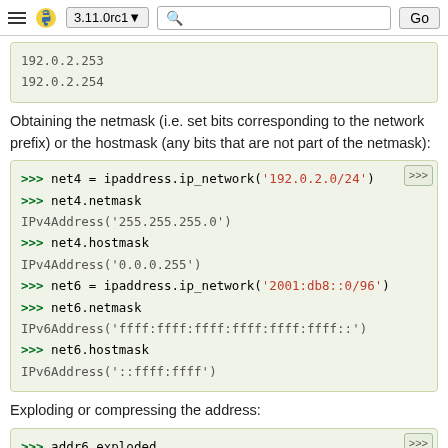3.11.0rc1 — Python documentation — Go
192.0.2.253
192.0.2.254
Obtaining the netmask (i.e. set bits corresponding to the network prefix) or the hostmask (any bits that are not part of the netmask):
>>> net4 = ipaddress.ip_network('192.0.2.0/24')
>>> net4.netmask
IPv4Address('255.255.255.0')
>>> net4.hostmask
IPv4Address('0.0.0.255')
>>> net6 = ipaddress.ip_network('2001:db8::0/96')
>>> net6.netmask
IPv6Address('ffff:ffff:ffff:ffff:ffff:ffff::')
>>> net6.hostmask
IPv6Address('::ffff:ffff')
Exploding or compressing the address:
>>> addr6.exploded
'2001:0db8:0000:0000:0000:0000:0000:0001'
>>> addr6.compressed
'2001:db8::1'
>>> net6.exploded